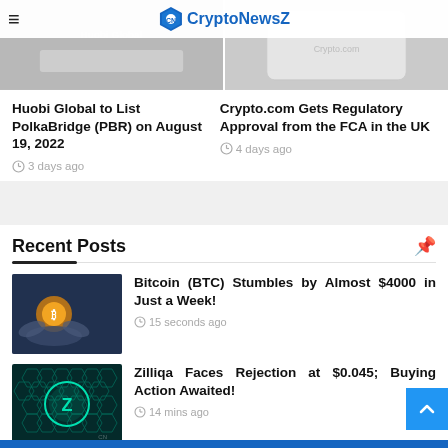CryptoNewsZ
Huobi Global to List PolkaBridge (PBR) on August 19, 2022
3 days ago
Crypto.com Gets Regulatory Approval from the FCA in the UK
4 days ago
Recent Posts
Bitcoin (BTC) Stumbles by Almost $4000 in Just a Week!
15 seconds ago
Zilliqa Faces Rejection at $0.045; Buying Action Awaited!
14 mins ago